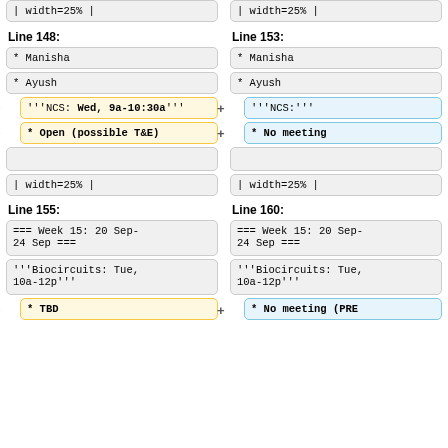| width=25% |
| width=25% |
Line 148:
Line 153:
* Manisha
* Manisha
* Ayush
* Ayush
'''NCS: Wed, 9a-10:30a'''
'''NCS:'''
* Open (possible T&E)
* No meeting
| width=25% |
| width=25% |
Line 155:
Line 160:
=== Week 15: 20 Sep-24 Sep ===
=== Week 15: 20 Sep-24 Sep ===
'''Biocircuits: Tue, 10a-12p'''
'''Biocircuits: Tue, 10a-12p'''
* TBD
* No meeting (PRE